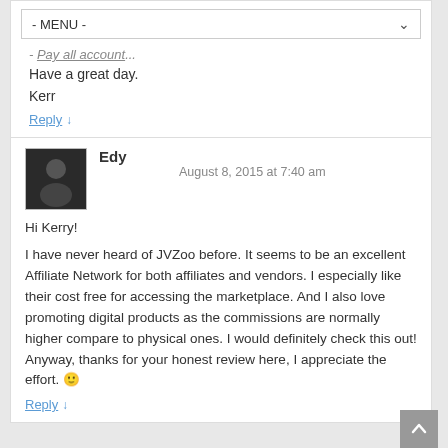- MENU -
- Pay all account...
Have a great day.
Kerr
Reply ↓
[Figure (photo): Avatar photo of commenter Edy, a person wearing glasses against a dark background]
Edy    August 8, 2015 at 7:40 am
Hi Kerry!

I have never heard of JVZoo before. It seems to be an excellent Affiliate Network for both affiliates and vendors. I especially like their cost free for accessing the marketplace. And I also love promoting digital products as the commissions are normally higher compare to physical ones. I would definitely check this out! Anyway, thanks for your honest review here, I appreciate the effort. 🙂
Reply ↓